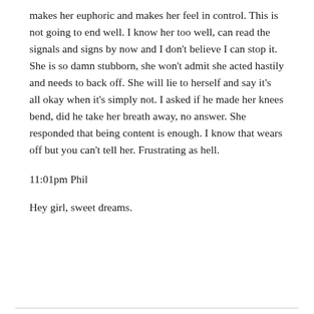makes her euphoric and makes her feel in control. This is not going to end well. I know her too well, can read the signals and signs by now and I don't believe I can stop it. She is so damn stubborn, she won't admit she acted hastily and needs to back off. She will lie to herself and say it's all okay when it's simply not. I asked if he made her knees bend, did he take her breath away, no answer. She responded that being content is enough. I know that wears off but you can't tell her. Frustrating as hell.
11:01pm Phil
Hey girl, sweet dreams.